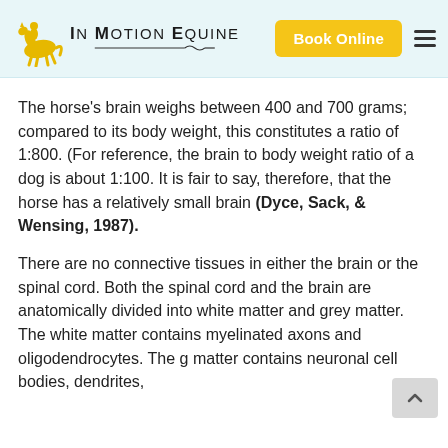[Figure (logo): InMotion Equine logo with yellow horse and rider, brand name text, Book Online button, and hamburger menu icon]
The horse's brain weighs between 400 and 700 grams; compared to its body weight, this constitutes a ratio of 1:800. (For reference, the brain to body weight ratio of a dog is about 1:100. It is fair to say, therefore, that the horse has a relatively small brain (Dyce, Sack, & Wensing, 1987).
There are no connective tissues in either the brain or the spinal cord. Both the spinal cord and the brain are anatomically divided into white matter and grey matter. The white matter contains myelinated axons and oligodendrocytes. The g matter contains neuronal cell bodies, dendrites,